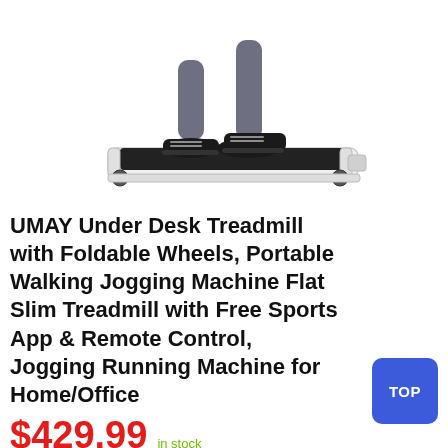[Figure (photo): Person walking on a white flat treadmill (under-desk model). Only the legs and feet are visible, wearing gray leggings and black sneakers. The treadmill is white with a black running belt.]
UMAY Under Desk Treadmill with Foldable Wheels, Portable Walking Jogging Machine Flat Slim Treadmill with Free Sports App & Remote Control, Jogging Running Machine for Home/Office
$429.99  in stock